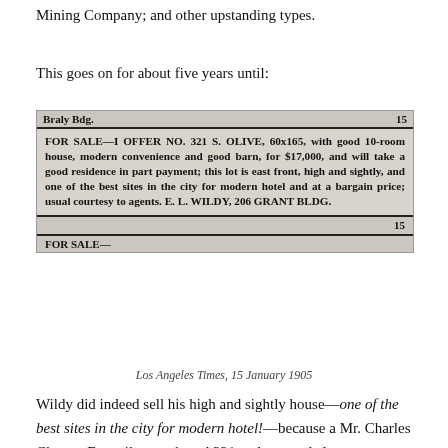Mining Company; and other upstanding types.
This goes on for about five years until:
[Figure (photo): Newspaper clipping from Los Angeles Times showing a classified advertisement: 'FOR SALE—I OFFER NO. 321 S. OLIVE, 60x165, with good 10-room house, modern convenience and good barn, for $17,000, and will take a good residence in part payment; this lot is east front, high and sightly, and one of the best sites in the city for modern hotel and at a bargain price; usual courtesy to agents. E. L. WILDY, 206 Grant Bldg.' with header 'Braly Bdg. 15' and footer '15' and partial next ad 'FOR SALE—']
Los Angeles Times, 15 January 1905
Wildy did indeed sell his high and sightly house—one of the best sites in the city for modern hotel!—because a Mr. Charles Clayton Emswiler purchased 321 and proceeded to erect a modern hotel (eponymously named The Ems). Granted, he clad said modern hotel in